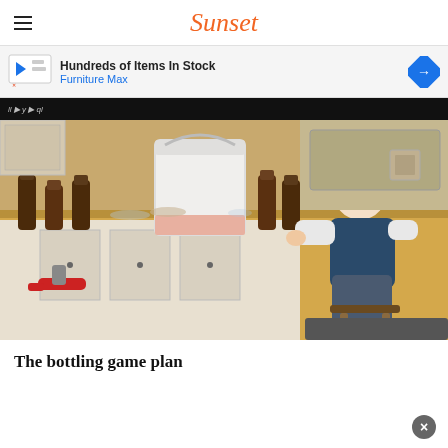Sunset
[Figure (infographic): Advertisement banner: Hundreds of Items In Stock - Furniture Max, with navigation arrow icon]
[Figure (photo): A woman sitting on a stool in a kitchen, filling brown beer bottles from a large white plastic bucket on a wooden countertop. Various beer bottles and a bottle capper with red handles are visible on the counter.]
The bottling game plan